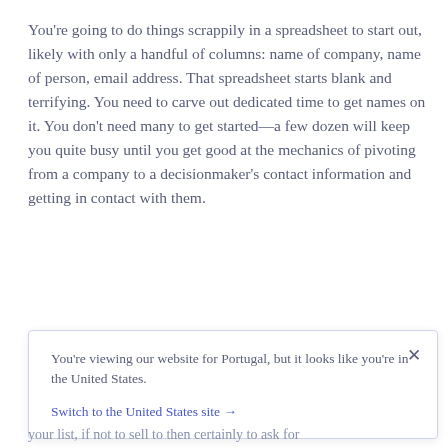You're going to do things scrappily in a spreadsheet to start out, likely with only a handful of columns: name of company, name of person, email address. That spreadsheet starts blank and terrifying. You need to carve out dedicated time to get names on it. You don't need many to get started—a few dozen will keep you quite busy until you get good at the mechanics of pivoting from a company to a decisionmaker's contact information and getting in contact with them.
You're viewing our website for Portugal, but it looks like you're in the United States.
Switch to the United States site →
your list, if not to sell to then certainly to ask for